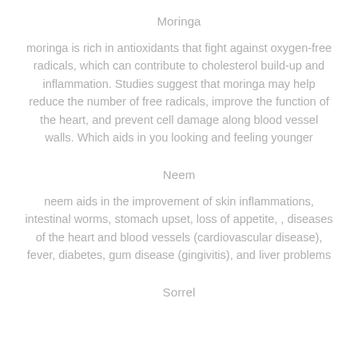Moringa
moringa is rich in antioxidants that fight against oxygen-free radicals, which can contribute to cholesterol build-up and inflammation. Studies suggest that moringa may help reduce the number of free radicals, improve the function of the heart, and prevent cell damage along blood vessel walls. Which aids in you looking and feeling younger
Neem
neem aids in the improvement of skin inflammations, intestinal worms, stomach upset, loss of appetite, , diseases of the heart and blood vessels (cardiovascular disease), fever, diabetes, gum disease (gingivitis), and liver problems
Sorrel